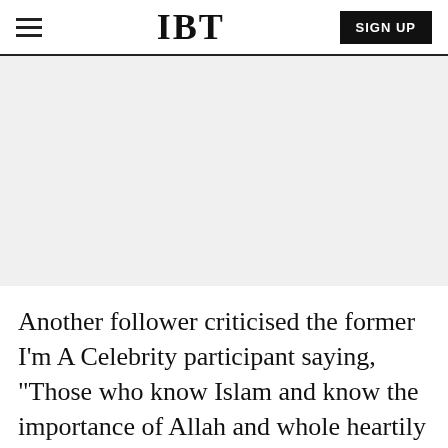IBT
[Figure (other): Advertisement placeholder area with light grey background]
Another follower criticised the former I'm A Celebrity participant saying, "Those who know Islam and know the importance of Allah and whole heartily accept his message will not put a tree in